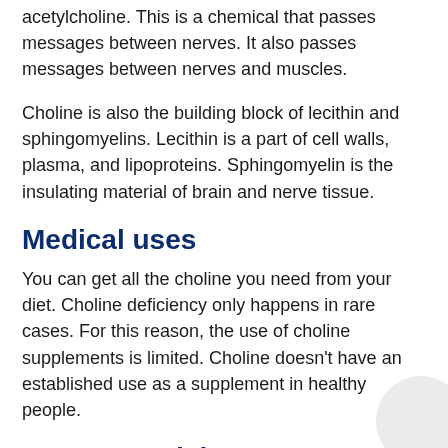acetylcholine. This is a chemical that passes messages between nerves. It also passes messages between nerves and muscles.
Choline is also the building block of lecithin and sphingomyelins. Lecithin is a part of cell walls, plasma, and lipoproteins. Sphingomyelin is the insulating material of brain and nerve tissue.
Medical uses
You can get all the choline you need from your diet. Choline deficiency only happens in rare cases. For this reason, the use of choline supplements is limited. Choline doesn’t have an established use as a supplement in healthy people.
Unproven claims
There may be benefits that have not yet been proven